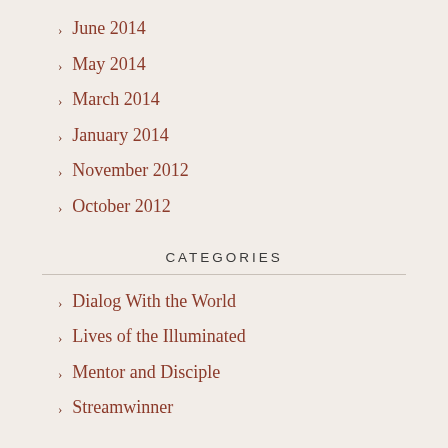June 2014
May 2014
March 2014
January 2014
November 2012
October 2012
CATEGORIES
Dialog With the World
Lives of the Illuminated
Mentor and Disciple
Streamwinner